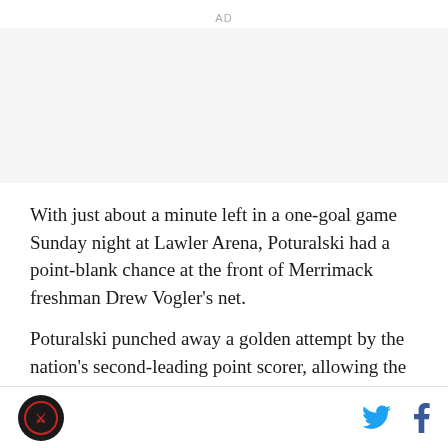AD
With just about a minute left in a one-goal game Sunday night at Lawler Arena, Poturalski had a point-blank chance at the front of Merrimack freshman Drew Vogler’s net.
Poturalski punched away a golden attempt by the nation’s second-leading point scorer, allowing the seventh-seeded Warriors to hold on to a 2-1 victory in a deciding Game 3 in the opening round of the 2016